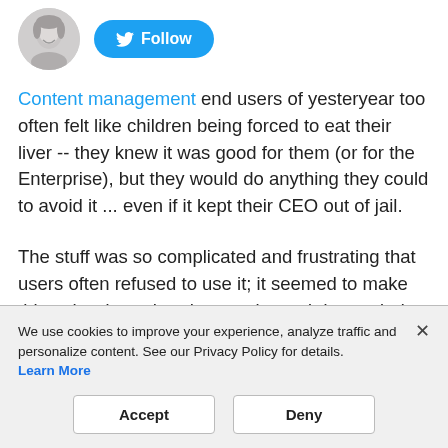[Figure (photo): Round avatar photo of a woman smiling, black and white, with a Twitter Follow button next to it]
Content management end users of yesteryear too often felt like children being forced to eat their liver -- they knew it was good for them (or for the Enterprise), but they would do anything they could to avoid it ... even if it kept their CEO out of jail.
The stuff was so complicated and frustrating that users often refused to use it; it seemed to make things harder rather than easier and demanded that workers struggle
We use cookies to improve your experience, analyze traffic and personalize content. See our Privacy Policy for details. Learn More
Accept
Deny